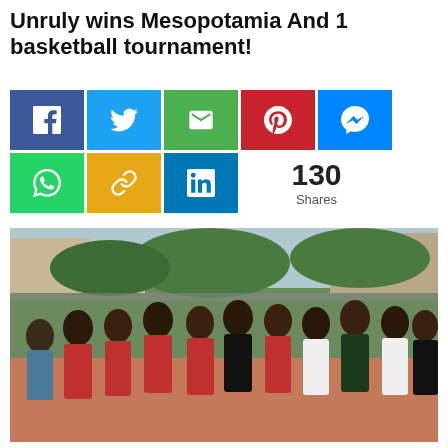Unruly wins Mesopotamia And 1 basketball tournament!
[Figure (infographic): Social media share buttons: Facebook (blue), Twitter (light blue), Email (green), Pinterest (red), Messenger (blue) in top row; WhatsApp (green), Link/Copy (yellow/gold), LinkedIn (blue) in bottom row, plus 130 Shares count]
[Figure (photo): Group photo of basketball team members wearing red jerseys posing together on an outdoor basketball court, trees and buildings visible in background]